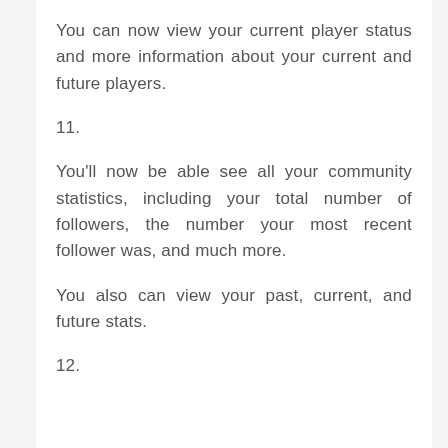You can now view your current player status and more information about your current and future players.
11.
You'll now be able see all your community statistics, including your total number of followers, the number your most recent follower was, and much more.
You also can view your past, current, and future stats.
12.